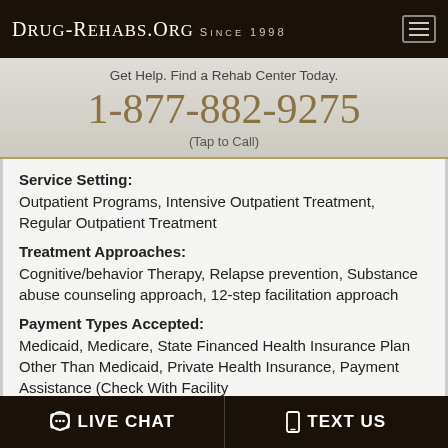Drug-Rehabs.org Since 1998
Get Help. Find a Rehab Center Today.
1-877-882-9275
(Tap to Call)
Service Setting:
Outpatient Programs, Intensive Outpatient Treatment, Regular Outpatient Treatment
Treatment Approaches:
Cognitive/behavior Therapy, Relapse prevention, Substance abuse counseling approach, 12-step facilitation approach
Payment Types Accepted:
Medicaid, Medicare, State Financed Health Insurance Plan Other Than Medicaid, Private Health Insurance, Payment Assistance (Check With Facility
LIVE CHAT   TEXT US